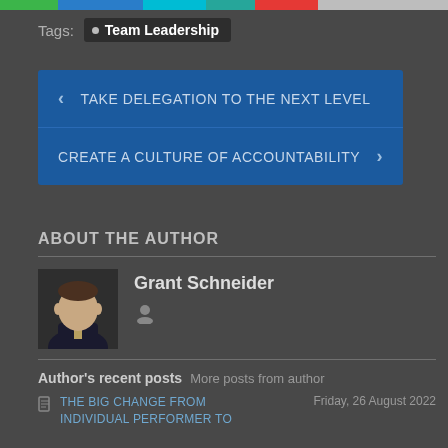Tags: Team Leadership
< TAKE DELEGATION TO THE NEXT LEVEL
CREATE A CULTURE OF ACCOUNTABILITY >
ABOUT THE AUTHOR
Grant Schneider
Author's recent posts  More posts from author
THE BIG CHANGE FROM INDIVIDUAL PERFORMER TO SUPERVISOR  Friday, 26 August 2022